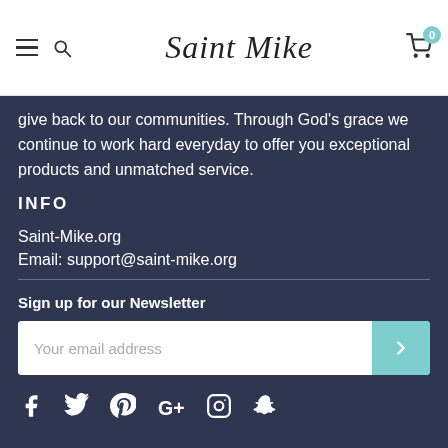Saint Mike (logo navigation bar with hamburger menu, search, and cart)
give back to our communities. Through God's grace we continue to work hard everyday to offer you exceptional products and unmatched service.
INFO
Saint-Mike.org
Email: support@saint-mike.org
Sign up for our Newsletter
[Figure (screenshot): Email newsletter signup form with text input placeholder 'Your email address' and a teal submit arrow button]
[Figure (infographic): Social media icons row: Facebook, Twitter, Pinterest, Google+, Instagram, Snapchat]